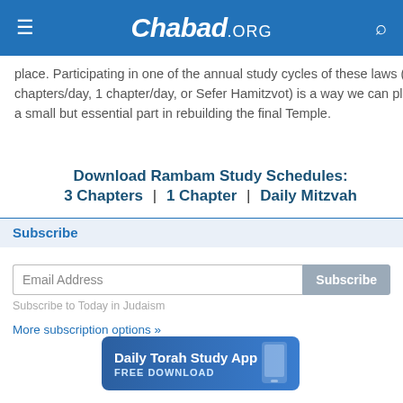Chabad.ORG
place. Participating in one of the annual study cycles of these laws (3 chapters/day, 1 chapter/day, or Sefer Hamitzvot) is a way we can play a small but essential part in rebuilding the final Temple.
Download Rambam Study Schedules:
3 Chapters  |  1 Chapter  |  Daily Mitzvah
Subscribe
Email Address
Subscribe to Today in Judaism
More subscription options »
[Figure (screenshot): Daily Torah Study App advertisement banner with phone image and text 'Daily Torah Study App FREE DOWNLOAD']
[Figure (screenshot): Partial view of The Jewish advertisement banner]